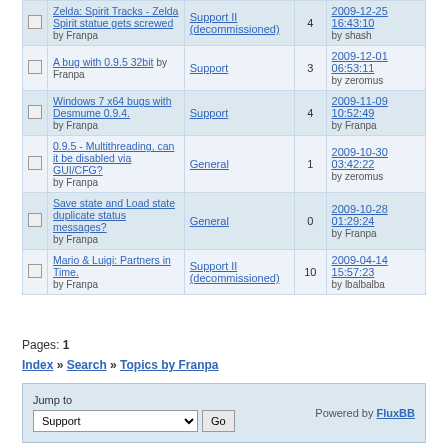|  | Topic | Forum | Replies | Last post |
| --- | --- | --- | --- | --- |
|  | Zelda: Spirit Tracks - Zelda Spirit statue gets screwed
by Franpa | Support II (decommissioned) | 4 | 2009-12-25 16:43:10
by shash |
|  | A bug with 0.9.5 32bit by Franpa | Support | 3 | 2009-12-01 06:53:11
by zeromus |
|  | Windows 7 x64 bugs with Desmume 0.9.4.
by Franpa | Support | 4 | 2009-11-09 10:52:49
by Franpa |
|  | 0.9.5 - Multithreading, can it be disabled via GUI/CFG?
by Franpa | General | 1 | 2009-10-30 03:42:22
by zeromus |
|  | Save state and Load state duplicate status messages?
by Franpa | General | 0 | 2009-10-28 01:29:24
by Franpa |
|  | Mario & Luigi: Partners in Time.
by Franpa | Support II (decommissioned) | 10 | 2009-04-14 15:57:23
by lbalbalba |
Pages: 1
Index » Search » Topics by Franpa
Jump to
Support  Go
Powered by FluxBB